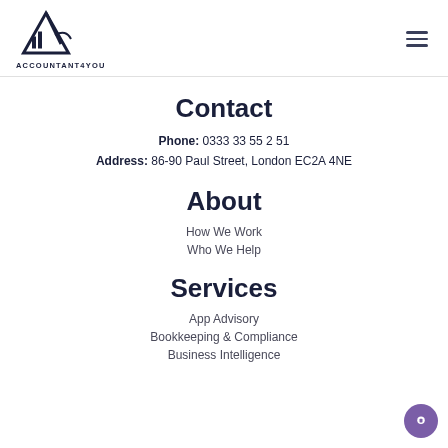ACCOUNTANT4YOU
Contact
Phone: 0333 33 55 2 51
Address: 86-90 Paul Street, London EC2A 4NE
About
How We Work
Who We Help
Services
App Advisory
Bookkeeping & Compliance
Business Intelligence